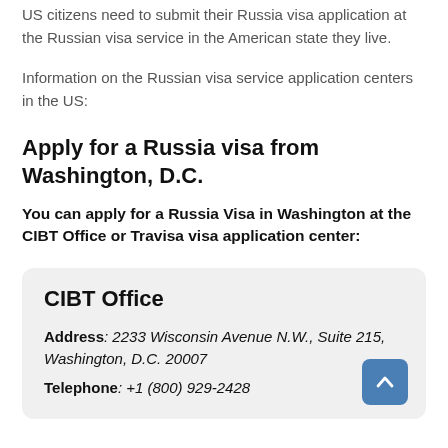US citizens need to submit their Russia visa application at the Russian visa service in the American state they live.
Information on the Russian visa service application centers in the US:
Apply for a Russia visa from Washington, D.C.
You can apply for a Russia Visa in Washington at the CIBT Office or Travisa visa application center:
CIBT Office
Address: 2233 Wisconsin Avenue N.W., Suite 215, Washington, D.C. 20007
Telephone: +1 (800) 929-2428